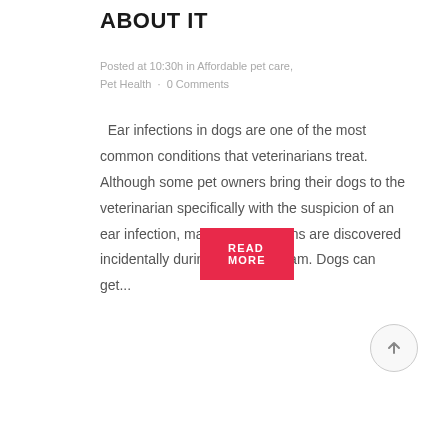ABOUT IT
Posted at 10:30h in Affordable pet care, Pet Health · 0 Comments
Ear infections in dogs are one of the most common conditions that veterinarians treat. Although some pet owners bring their dogs to the veterinarian specifically with the suspicion of an ear infection, many ear infections are discovered incidentally during a routine exam. Dogs can get...
READ MORE